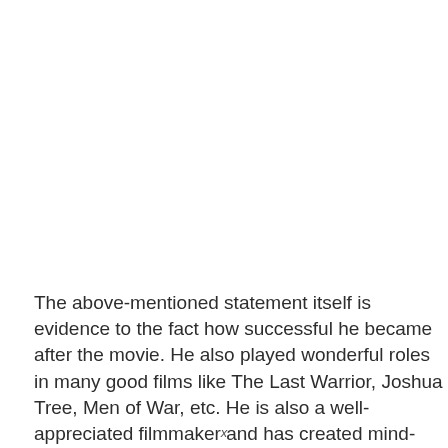The above-mentioned statement itself is evidence to the fact how successful he became after the movie. He also played wonderful roles in many good films like The Last Warrior, Joshua Tree, Men of War, etc. He is also a well-appreciated filmmaker and has created mind-blowing movies like The [highlighted]
x